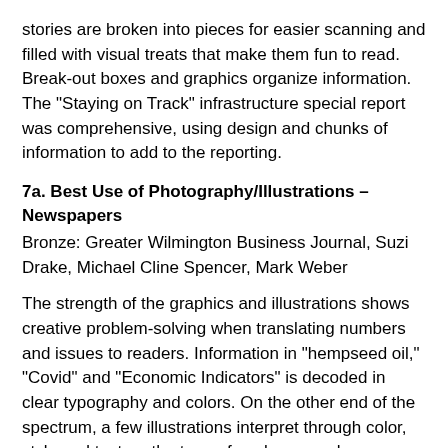stories are broken into pieces for easier scanning and filled with visual treats that make them fun to read. Break-out boxes and graphics organize information. The “Staying on Track” infrastructure special report was comprehensive, using design and chunks of information to add to the reporting.
7a. Best Use of Photography/Illustrations – Newspapers
Bronze: Greater Wilmington Business Journal, Suzi Drake, Michael Cline Spencer, Mark Weber
The strength of the graphics and illustrations shows creative problem-solving when translating numbers and issues to readers. Information in “hempseed oil,” “Covid” and “Economic Indicators” is decoded in clear typography and colors. On the other end of the spectrum, a few illustrations interpret through color, style and texture the tone of package, such as “Wilmington Gothic”, a comedic look at newcomers through the filter of Grant Wood...